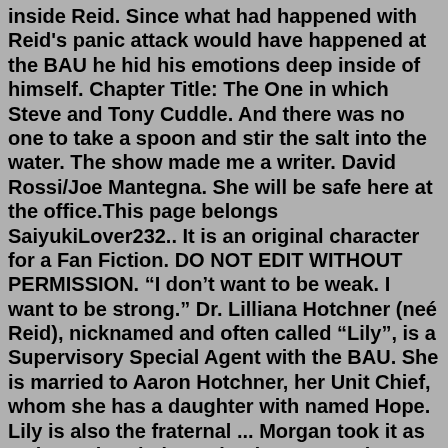inside Reid. Since what had happened with Reid's panic attack would have happened at the BAU he hid his emotions deep inside of himself. Chapter Title: The One in which Steve and Tony Cuddle. And there was no one to take a spoon and stir the salt into the water. The show made me a writer. David Rossi/Joe Mantegna. She will be safe here at the office.This page belongs SaiyukiLover232.. It is an original character for a Fan Fiction. DO NOT EDIT WITHOUT PERMISSION. "I don't want to be weak. I want to be strong." Dr. Lilliana Hotchner (neé Reid), nicknamed and often called "Lily", is a Supervisory Special Agent with the BAU. She is married to Aaron Hotchner, her Unit Chief, whom she has a daughter with named Hope. Lily is also the fraternal ... Morgan took it as a sign to break down the door. Soon the police officers and the team were running around the house, trying to find the Unsub and victim. Reid turned down a hallway that seemed to lead to a bedroom but was wrong. When he opened the door, he nearly fell down a flight of stairs but